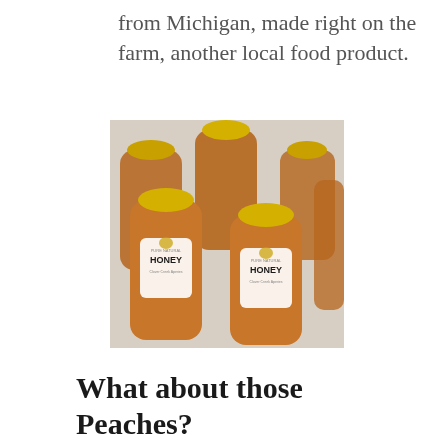from Michigan, made right on the farm, another local food product.
[Figure (photo): Several squeeze bottles of 'Pure Natural Honey' with yellow caps arranged on a light-colored surface. Labels show a beehive logo and the word HONEY in bold letters.]
What about those Peaches?